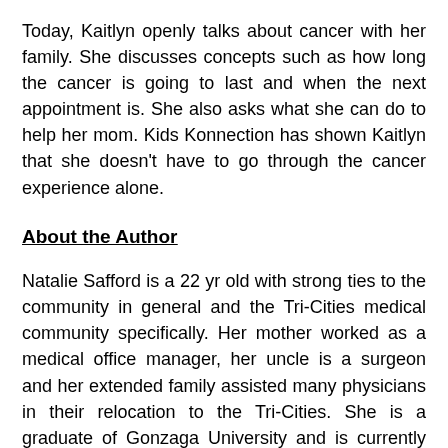Today, Kaitlyn openly talks about cancer with her family. She discusses concepts such as how long the cancer is going to last and when the next appointment is. She also asks what she can do to help her mom. Kids Konnection has shown Kaitlyn that she doesn't have to go through the cancer experience alone.
About the Author
Natalie Safford is a 22 yr old with strong ties to the community in general and the Tri-Cities medical community specifically. Her mother worked as a medical office manager, her uncle is a surgeon and her extended family assisted many physicians in their relocation to the Tri-Cities. She is a graduate of Gonzaga University and is currently working as a substitute elementary school teacher. She lost her father to cancer in 2014 and a year later sought out volunteer work at the Tri-Cities Cancer Center. On her volunteer application she noted a desire 'to